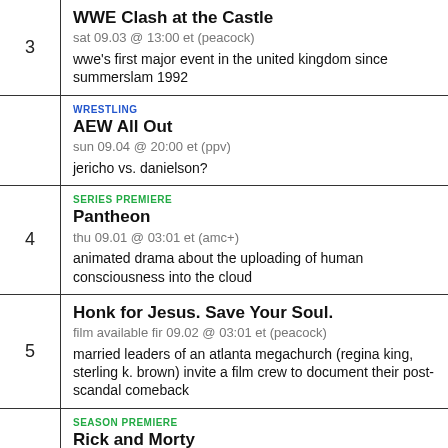3 | WWE Clash at the Castle
sat 09.03 @ 13:00 et (peacock)
wwe's first major event in the united kingdom since summerslam 1992
WRESTLING
AEW All Out
sun 09.04 @ 20:00 et (ppv)
jericho vs. danielson?
SERIES PREMIERE
Pantheon
thu 09.01 @ 03:01 et (amc+)
animated drama about the uploading of human consciousness into the cloud
5 | Honk for Jesus. Save Your Soul.
film available fir 09.02 @ 03:01 et (peacock)
married leaders of an atlanta megachurch (regina king, sterling k. brown) invite a film crew to document their post-scandal comeback
SEASON PREMIERE
Rick and Morty
sun 09.04 @ 23:00 (adult swim)
SEASON PREMIERE / VOLLEY